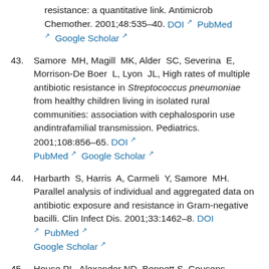resistance: a quantitative link. Antimicrob Chemother. 2001;48:535–40. DOI PubMed Google Scholar
43. Samore MH, Magill MK, Alder SC, Severina E, Morrison-De Boer L, Lyon JL, High rates of multiple antibiotic resistance in Streptococcus pneumoniae from healthy children living in isolated rural communities: association with cephalosporin use andintrafamilial transmission. Pediatrics. 2001;108:856–65. DOI PubMed Google Scholar
44. Harbarth S, Harris A, Carmeli Y, Samore MH. Parallel analysis of individual and aggregated data on antibiotic exposure and resistance in Gram-negative bacilli. Clin Infect Dis. 2001;33:1462–8. DOI PubMed Google Scholar
45. House PL, Alexander ND, Bennett S, Cousens...